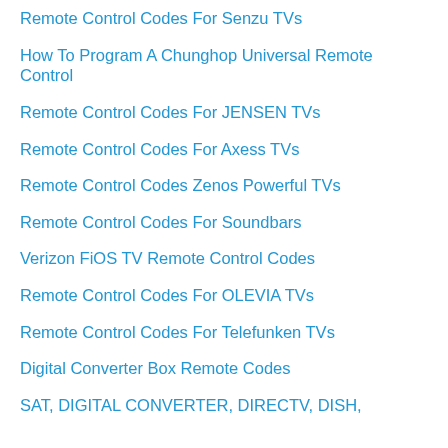Remote Control Codes For Senzu TVs
How To Program A Chunghop Universal Remote Control
Remote Control Codes For JENSEN TVs
Remote Control Codes For Axess TVs
Remote Control Codes Zenos Powerful TVs
Remote Control Codes For Soundbars
Verizon FiOS TV Remote Control Codes
Remote Control Codes For OLEVIA TVs
Remote Control Codes For Telefunken TVs
Digital Converter Box Remote Codes
SAT, DIGITAL CONVERTER, DIRECTV, DISH,